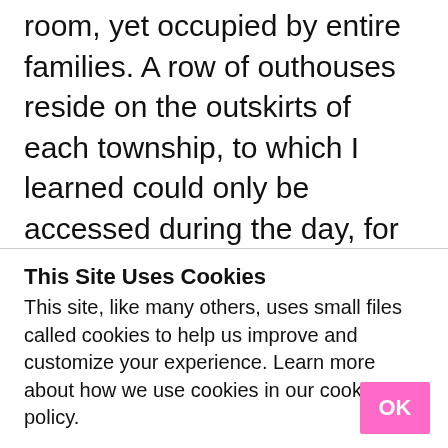room, yet occupied by entire families. A row of outhouses reside on the outskirts of each township, to which I learned could only be accessed during the day, for at night it was too dangerous.This quickly put some matters into perspective for me, realizing that many
This Site Uses Cookies
This site, like many others, uses small files called cookies to help us improve and customize your experience. Learn more about how we use cookies in our cookie policy.